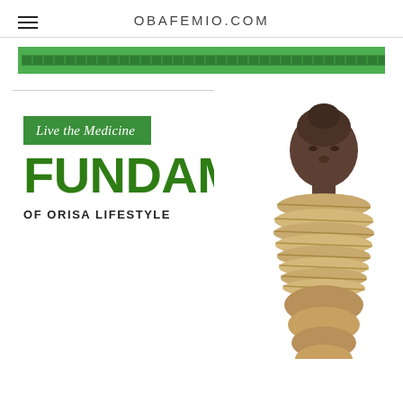OBAFEMIO.COM
[Figure (illustration): Decorative green band with dark green square mosaic pattern repeating across full width]
Live the Medicine
FUNDAMENTALS
OF ORISA LIFESTYLE
[Figure (photo): Bronze or wooden African carved figurine/statue with detailed beaded necklace and ceremonial attire, positioned on the right side of the page]